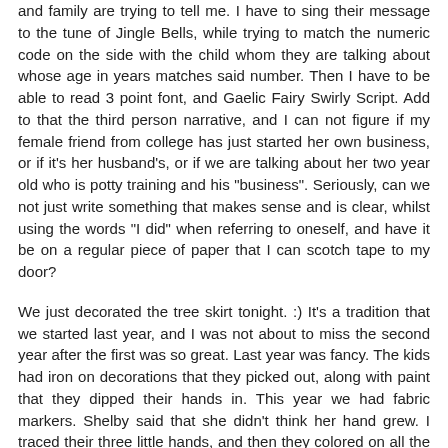and family are trying to tell me.  I have to sing their message to the tune of Jingle Bells, while trying to match the numeric code on the side with the child whom they are talking about whose age in years matches said number.  Then I have to be able to read 3 point font, and Gaelic Fairy Swirly Script.  Add to that the third person narrative, and I can not figure if my female friend from college has just started her own business, or if it's her husband's, or if we are talking about her two year old who is potty training and his "business".  Seriously, can we not just write something that makes sense and is clear, whilst using the words "I did" when referring to oneself, and have it be on a regular piece of paper that I can scotch tape to my door?
We just decorated the tree skirt tonight. :)  It's a tradition that we started last year, and I was not about to miss the second year after the first was so great.  Last year was fancy.  The kids had iron on decorations that they picked out, along with paint that they dipped their hands in.  This year we had fabric markers.  Shelby said that she didn't think her hand grew.  I traced their three little hands, and then they colored on all the stuff they were in to.  Dalton put lacrosse, indoor soccer,